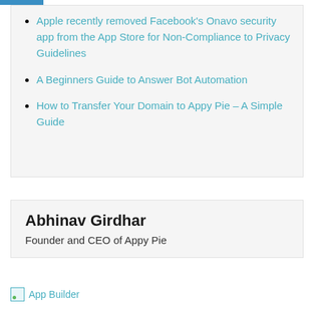Apple recently removed Facebook's Onavo security app from the App Store for Non-Compliance to Privacy Guidelines
A Beginners Guide to Answer Bot Automation
How to Transfer Your Domain to Appy Pie – A Simple Guide
Abhinav Girdhar
Founder and CEO of Appy Pie
App Builder